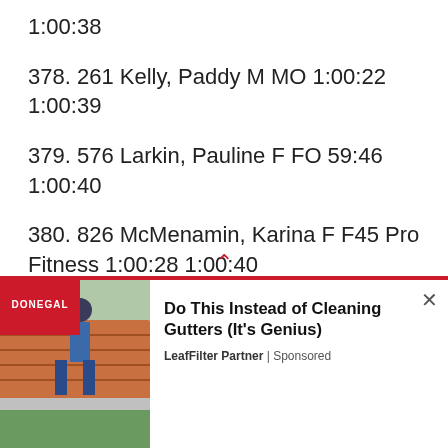377. 259 Also, Carlene F F45 1:00:21 1:00:38
378. 261 Kelly, Paddy M MO 1:00:22 1:00:39
379. 576 Larkin, Pauline F FO 59:46 1:00:40
380. 826 McMenamin, Karina F F45 Pro Fitness 1:00:28 1:00:40
381. 551 Wilson, Joseph M M40 Rushe fitness 1:00:25 1:00:41
382. 330 Mc daid, Chris M MO 59:54 1:00:41
[Figure (infographic): Advertisement overlay at bottom of page: LeafFilter Partner sponsored ad 'Do This Instead of Cleaning Gutters (It's Genius)' with image of person cleaning gutters on a roof.]